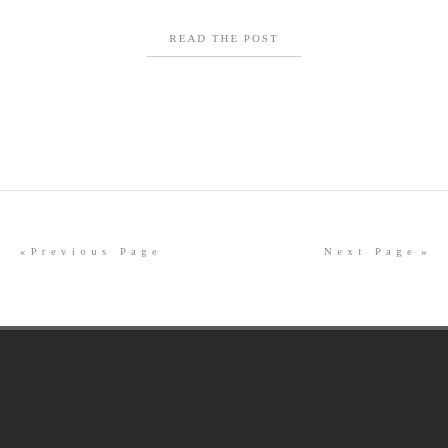READ THE POST
« Previous Page
Next Page »
like what you see?
LET'S WORK TOGETHER